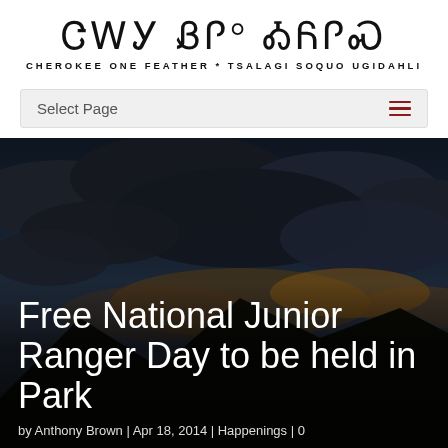ᏣᎳᎩ ᏰᎵ° ᎣᏲᎵᏍ / CHEROKEE ONE FEATHER * TSALAGI SOQUO UGIDAHLI
Select Page
[Figure (photo): Dramatic sunset sky over mountain silhouettes with dark storm clouds and golden light breaking through on the horizon]
Free National Junior Ranger Day to be held in Park
by Anthony Brown | Apr 18, 2014 | Happenings | 0